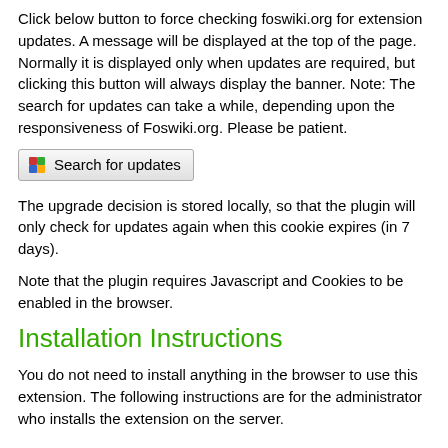Click below button to force checking foswiki.org for extension updates. A message will be displayed at the top of the page. Normally it is displayed only when updates are required, but clicking this button will always display the banner. Note: The search for updates can take a while, depending upon the responsiveness of Foswiki.org. Please be patient.
[Figure (other): Button labeled 'Search for updates' with a small colorful cube icon]
The upgrade decision is stored locally, so that the plugin will only check for updates again when this cookie expires (in 7 days).
Note that the plugin requires Javascript and Cookies to be enabled in the browser.
Installation Instructions
You do not need to install anything in the browser to use this extension. The following instructions are for the administrator who installs the extension on the server.